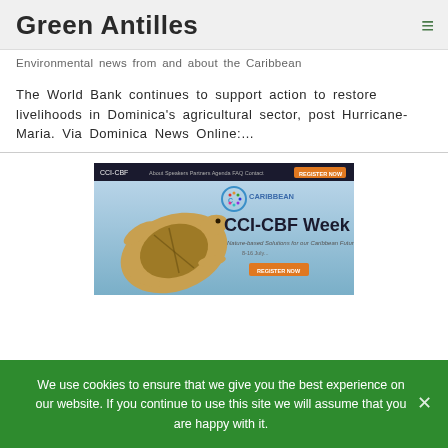Green Antilles
Environmental news from and about the Caribbean
The World Bank continues to support action to restore livelihoods in Dominica's agricultural sector, post Hurricane-Maria. Via Dominica News Online:…
[Figure (screenshot): Screenshot of CCI-CBF Week website banner featuring a sea turtle and text 'CCI-CBF Week – Nature-based Solutions for our Caribbean Future. 8-16 July.' with a Caribbean logo and orange Register Now button.]
We use cookies to ensure that we give you the best experience on our website. If you continue to use this site we will assume that you are happy with it.